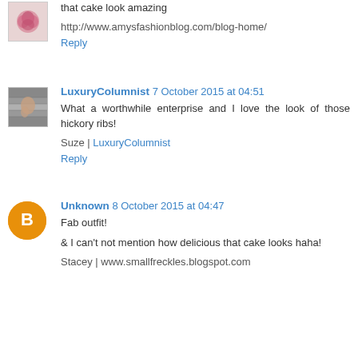[Figure (illustration): Small avatar image with a rose/floral design, pink tones]
that cake look amazing
http://www.amysfashionblog.com/blog-home/
Reply
[Figure (photo): Small avatar photo showing a person, muted tones]
LuxuryColumnist 7 October 2015 at 04:51
What a worthwhile enterprise and I love the look of those hickory ribs!
Suze | LuxuryColumnist
Reply
[Figure (illustration): Orange circular Blogger avatar with white B logo]
Unknown 8 October 2015 at 04:47
Fab outfit!
& I can't not mention how delicious that cake looks haha!
Stacey | www.smallfreckles.blogspot.com